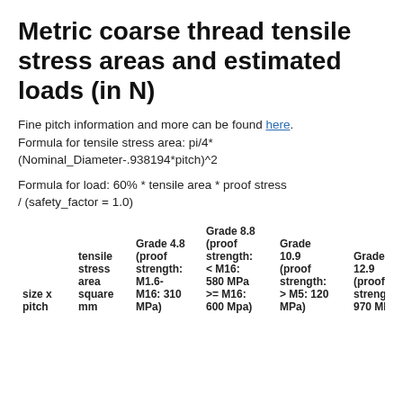Metric coarse thread tensile stress areas and estimated loads (in N)
Fine pitch information and more can be found here. Formula for tensile stress area: pi/4* (Nominal_Diameter-.938194*pitch)^2
Formula for load: 60% * tensile area * proof stress / (safety_factor = 1.0)
| size x pitch | tensile stress area square mm | Grade 4.8 (proof strength: M1.6-M16: 310 MPa) | Grade 8.8 (proof strength: < M16: 580 MPa >= M16: 600 Mpa) | Grade 10.9 (proof strength: > M5: 120 MPa) | Grade 12.9 (proof strength: 970 MPa) |
| --- | --- | --- | --- | --- | --- |